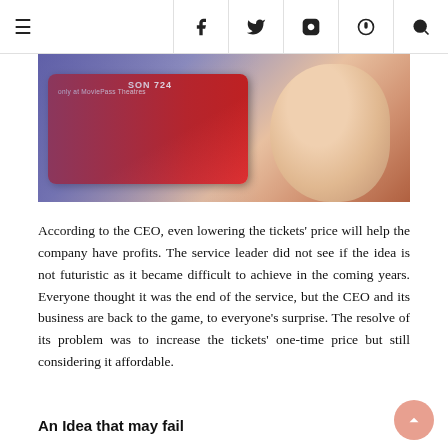≡  f  🐦  📷  𝗽  🔍
[Figure (photo): Close-up photo of a hand holding a red MoviePass card with text 'only at MoviePass Theatres' visible on the card]
According to the CEO, even lowering the tickets' price will help the company have profits. The service leader did not see if the idea is not futuristic as it became difficult to achieve in the coming years. Everyone thought it was the end of the service, but the CEO and its business are back to the game, to everyone's surprise. The resolve of its problem was to increase the tickets' one-time price but still considering it affordable.
An Idea that may fail